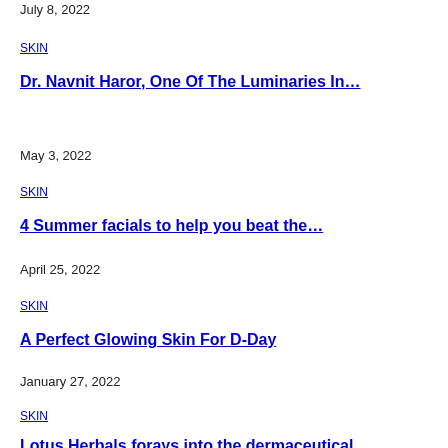July 8, 2022
SKIN
Dr. Navnit Haror, One Of The Luminaries In…
May 3, 2022
SKIN
4 Summer facials to help you beat the…
April 25, 2022
SKIN
A Perfect Glowing Skin For D-Day
January 27, 2022
SKIN
Lotus Herbals forays into the dermaceutical